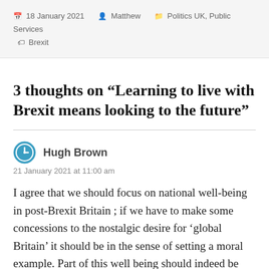18 January 2021  Matthew  Politics UK, Public Services  Brexit
3 thoughts on “Learning to live with Brexit means looking to the future”
Hugh Brown
21 January 2021 at 11:00 am
I agree that we should focus on national well-being in post-Brexit Britain ; if we have to make some concessions to the nostalgic desire for ‘global Britain’ it should be in the sense of setting a moral example. Part of this well being should indeed be better democracy, which means more delegation to regional level.